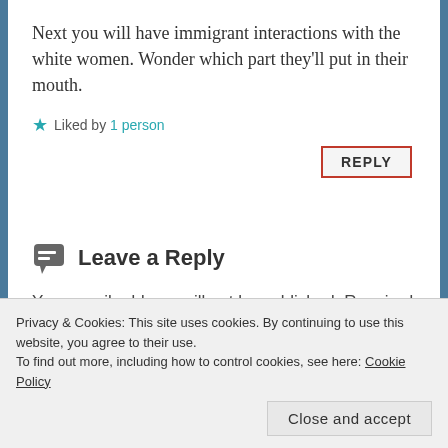Next you will have immigrant interactions with the white women. Wonder which part they'll put in their mouth.
★ Liked by 1 person
Leave a Reply
Your email address will not be published. Required fields are marked *
Privacy & Cookies: This site uses cookies. By continuing to use this website, you agree to their use.
To find out more, including how to control cookies, see here: Cookie Policy